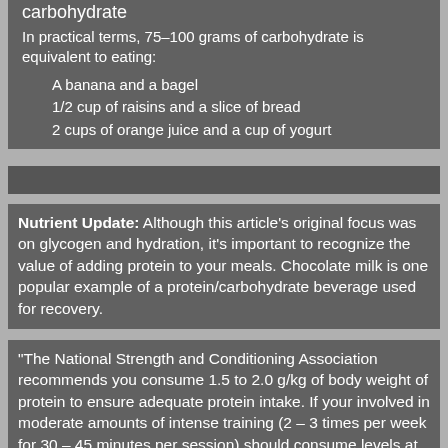carbohydrate
In practical terms, 75–100 grams of carbohydrate is equivalent to eating:
A banana and a bagel
1/2 cup of raisins and a slice of bread
2 cups of orange juice and a cup of yogurt
Nutrient Update: Although this article's original focus was on glycogen and hydration, it's important to recognize the value of adding protein to your meals. Chocolate milk is one popular example of a protein/carbohydrate beverage used for recovery.
"The National Strength and Conditioning Association recommends you consume 1.5 to 2.0 g/kg of body weight of protein to ensure adequate protein intake. If your involved in moderate amounts of intense training (2 – 3 times per week for 30 – 45 minutes per session) should consume levels at the lower end of this range (110 – 130 grams/day for a 75kg athlete) while those involved in high volume intense training should consume levels at the upper end of this range (130– 150 grams/day for a 75kg person).